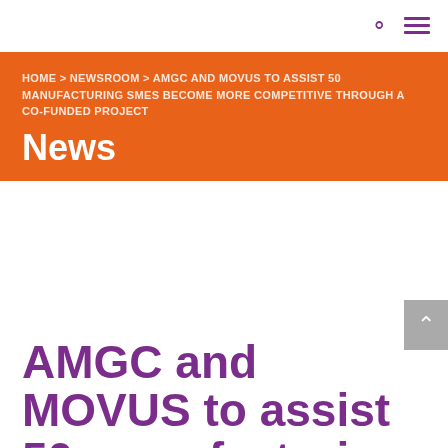🔍 ≡
HOME > NEWSROOM > AMGC AND MOVUS TO ASSIST 50 MANUFACTURING SMES BECOME MORE COMPETITIVE THROUGH A CO-FUNDED PROJECT
News
AMGC and MOVUS to assist 50 manufacturing SMEs